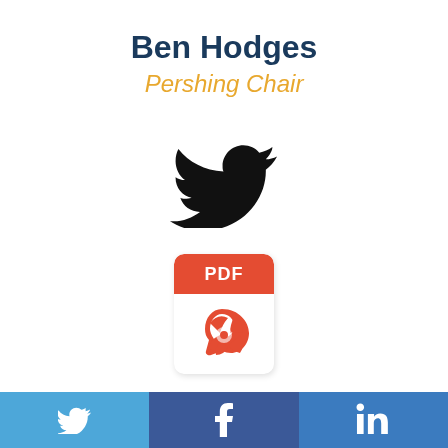Ben Hodges
Pershing Chair
[Figure (logo): Twitter bird logo icon, black silhouette]
[Figure (logo): PDF file icon with red header showing 'PDF' text and Adobe Acrobat symbol below]
Lieutenant General (Retired) Ben Hodges
[Figure (infographic): Social media share bar at bottom with three buttons: Twitter (light blue), Facebook (dark blue), LinkedIn (medium blue)]